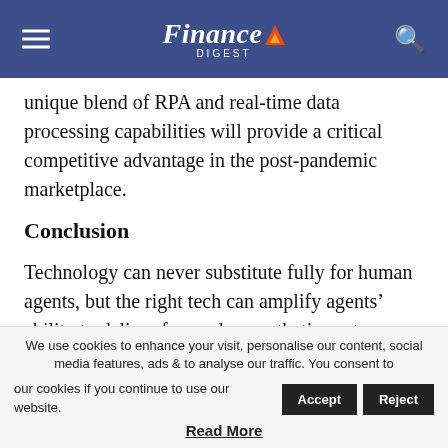Finance Digest
unique blend of RPA and real-time data processing capabilities will provide a critical competitive advantage in the post-pandemic marketplace.
Conclusion
Technology can never substitute fully for human agents, but the right tech can amplify agents’ ability to deliver focused, empathetic customer service. Intelligent automation takes repetitive tasks off the agent’s plate and also processes data related to agent behavior and overall center activities, detecting service logjams across
We use cookies to enhance your visit, personalise our content, social media features, ads & to analyse our traffic. You consent to our cookies if you continue to use our website.
Read More